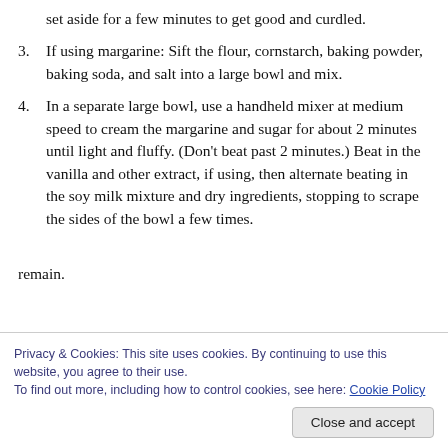set aside for a few minutes to get good and curdled.
3. If using margarine: Sift the flour, cornstarch, baking powder, baking soda, and salt into a large bowl and mix.
4. In a separate large bowl, use a handheld mixer at medium speed to cream the margarine and sugar for about 2 minutes until light and fluffy. (Don’t beat past 2 minutes.) Beat in the vanilla and other extract, if using, then alternate beating in the soy milk mixture and dry ingredients, stopping to scrape the sides of the bowl a few times.
remain.
Privacy & Cookies: This site uses cookies. By continuing to use this website, you agree to their use. To find out more, including how to control cookies, see here: Cookie Policy
Close and accept